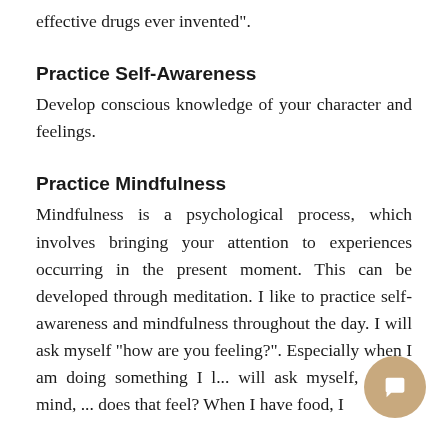effective drugs ever invented".
Practice Self-Awareness
Develop conscious knowledge of your character and feelings.
Practice Mindfulness
Mindfulness is a psychological process, which involves bringing your attention to experiences occurring in the present moment. This can be developed through meditation. I like to practice self-awareness and mindfulness throughout the day. I will ask myself "how are you feeling?". Especially when I am doing something I l... will ask myself, in my mind, ... does that feel? When I have food, I